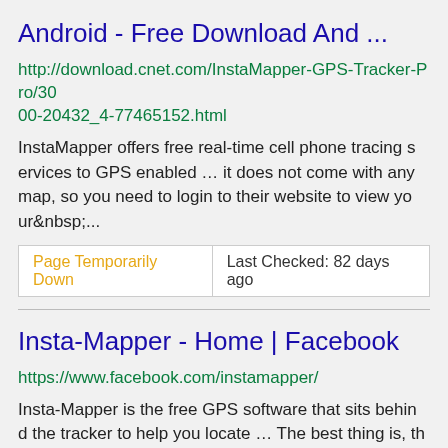Android - Free Download And ...
http://download.cnet.com/InstaMapper-GPS-Tracker-Pro/3000-20432_4-77465152.html
InstaMapper offers free real-time cell phone tracing services to GPS enabled ... it does not come with any map, so you need to login to their website to view your&nbsp;...
Page Temporarily Down | Last Checked: 82 days ago
Insta-Mapper - Home | Facebook
https://www.facebook.com/instamapper/
Insta-Mapper is the free GPS software that sits behind the tracker to help you locate ... The best thing is, they don&#39;t even require a login – just literally copy